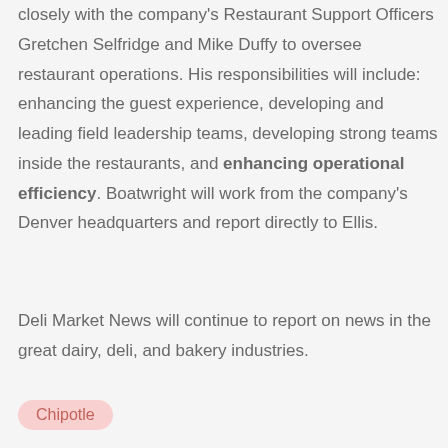closely with the company's Restaurant Support Officers Gretchen Selfridge and Mike Duffy to oversee restaurant operations. His responsibilities will include: enhancing the guest experience, developing and leading field leadership teams, developing strong teams inside the restaurants, and enhancing operational efficiency. Boatwright will work from the company's Denver headquarters and report directly to Ellis.
Deli Market News will continue to report on news in the great dairy, deli, and bakery industries.
Chipotle